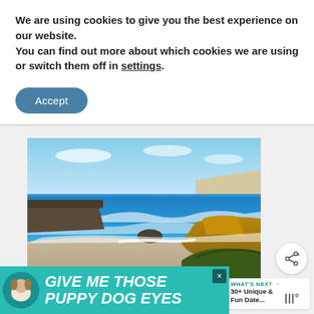We are using cookies to give you the best experience on our website.
You can find out more about which cookies we are using or switch them off in settings.
Accept
[Figure (photo): Coastal beach scene with blue ocean waves, rocky outcrops with orange/yellow lichen, sandy beach, and blue sky with light clouds. Appears to be a scenic coastal location.]
WHAT'S NEXT → 30+ Unique & Fun Date...
GIVE ME THOSE PUPPY DOG EYES